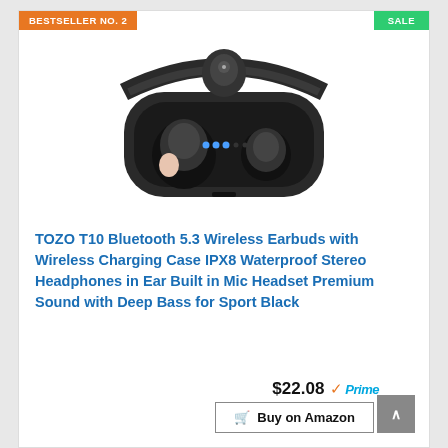BESTSELLER NO. 2
SALE
[Figure (photo): TOZO T10 wireless earbuds shown in open charging case with blue LED indicators]
TOZO T10 Bluetooth 5.3 Wireless Earbuds with Wireless Charging Case IPX8 Waterproof Stereo Headphones in Ear Built in Mic Headset Premium Sound with Deep Bass for Sport Black
$22.08 ✓Prime
Buy on Amazon